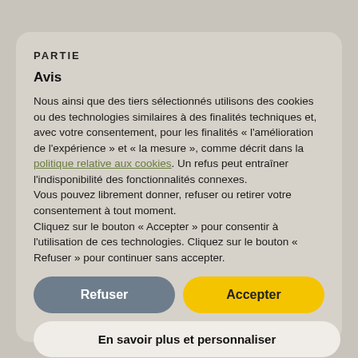PARTIE
Avis
Nous ainsi que des tiers sélectionnés utilisons des cookies ou des technologies similaires à des finalités techniques et, avec votre consentement, pour les finalités « l'amélioration de l'expérience » et « la mesure », comme décrit dans la politique relative aux cookies. Un refus peut entraîner l'indisponibilité des fonctionnalités connexes.
Vous pouvez librement donner, refuser ou retirer votre consentement à tout moment.
Cliquez sur le bouton « Accepter » pour consentir à l'utilisation de ces technologies. Cliquez sur le bouton « Refuser » pour continuer sans accepter.
Refuser
Accepter
En savoir plus et personnaliser